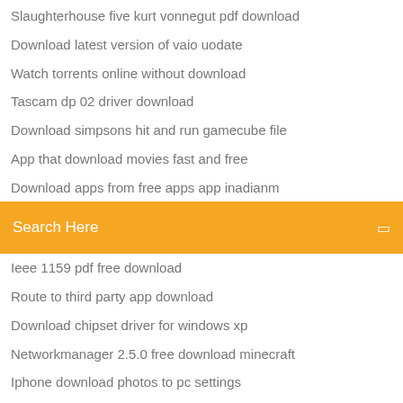Slaughterhouse five kurt vonnegut pdf download
Download latest version of vaio uodate
Watch torrents online without download
Tascam dp 02 driver download
Download simpsons hit and run gamecube file
App that download movies fast and free
Download apps from free apps app inadianm
[Figure (screenshot): Orange search bar with text 'Search Here' and a small icon on the right]
Ieee 1159 pdf free download
Route to third party app download
Download chipset driver for windows xp
Networkmanager 2.5.0 free download minecraft
Iphone download photos to pc settings
Word search free downloads for android tablet
Business of surgery pdf free download
Download latest version androdumpper
Download pezbot mod for cod4
Scary movie 1 torrent download